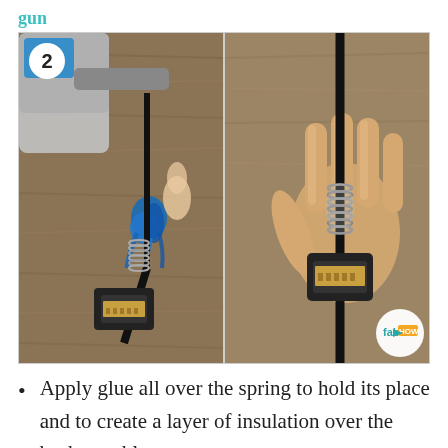gun
[Figure (photo): Two-panel step 2 photo: left panel shows a hot glue gun applying blue glue to the base of a USB cable connector with a metallic spring wrap, on a wood-grain surface; right panel shows a hand holding the USB cable with glue applied over the spring, with a fabHOW logo in the bottom right corner.]
Apply glue all over the spring to hold its place and to create a layer of insulation over the broken cable.